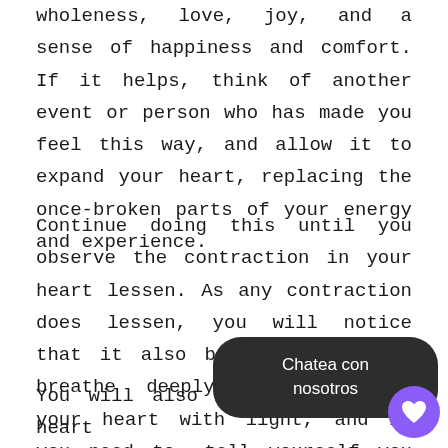wholeness, love, joy, and a sense of happiness and comfort. If it helps, think of another event or person who has made you feel this way, and allow it to expand your heart, replacing the once-broken parts of your energy and experience.
Continue doing this until you observe the contraction in your heart lessen. As any contraction does lessen, you will notice that it also becomes easier to breathe deeply. Keep filling your heart with light, and if you need to, tell yourself you are safe, you can love, and you are loved. This active mental and physical process will start to change your heart-brain coherence, alter your neurochemical makeup, and make positive states easier to achieve.
You will also be training your heart to eager to give and receive love in the world, without fear